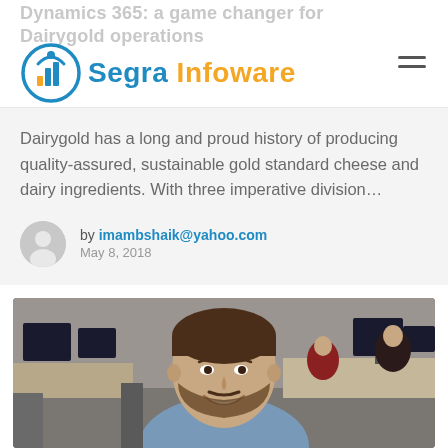Segra Infoware
Dynamics 365: a game changer for Dairygold operations
Dairygold has a long and proud history of producing quality-assured, sustainable gold standard cheese and dairy ingredients. With three imperative division...
by imambshaik@yahoo.com
May 8, 2018
[Figure (photo): A smiling bearded man in a light denim shirt sitting in a modern office environment with computers and colleagues in the background.]